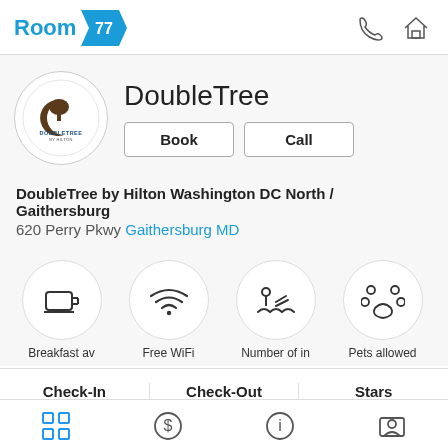Room 77
[Figure (logo): DoubleTree by Hilton circular logo]
DoubleTree
Book | Call
DoubleTree by Hilton Washington DC North / Gaithersburg
620 Perry Pkwy Gaithersburg MD
[Figure (infographic): Amenity icons: Breakfast available, Free WiFi, Number of indoor pools, Pets allowed]
| Check-In | Check-Out | Stars |
| --- | --- | --- |
| 3:00 PM - anytime | 12:00 PM | 4 |
Grid | Dollar | Info | Map icons